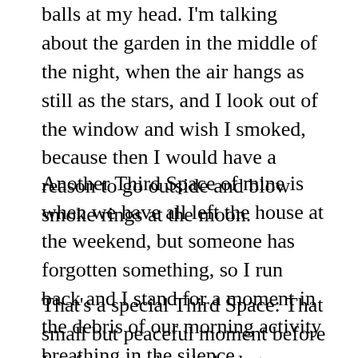balls at my head. I'm talking about the garden in the middle of the night, when the air hangs as still as the stars, and I look out of the window and wish I smoked, because then I would have a reason to go outside and blow smoke rings at the moon.
Another Third Space of mine is when we have all left the house at the weekend, but someone has forgotten something, so I run back and I stand for a moment in the debris of our morning activity breathing in the silence.
That's a special Third Space: That small but peaceful moment before I unfreeze and grab the hat, or sock or water bottle and race back to the…